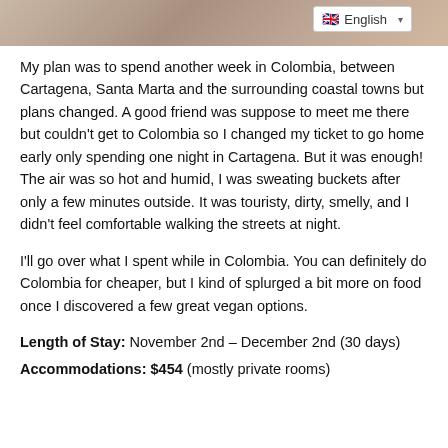[Figure (photo): Partial photo at top of page showing a patterned surface, with an English language selector dropdown overlay in top right]
My plan was to spend another week in Colombia, between Cartagena, Santa Marta and the surrounding coastal towns but plans changed. A good friend was suppose to meet me there but couldn't get to Colombia so I changed my ticket to go home early only spending one night in Cartagena. But it was enough! The air was so hot and humid, I was sweating buckets after only a few minutes outside. It was touristy, dirty, smelly, and I didn't feel comfortable walking the streets at night.
I'll go over what I spent while in Colombia. You can definitely do Colombia for cheaper, but I kind of splurged a bit more on food once I discovered a few great vegan options.
Length of Stay: November 2nd – December 2nd (30 days)
Accommodations: $454 (mostly private rooms)